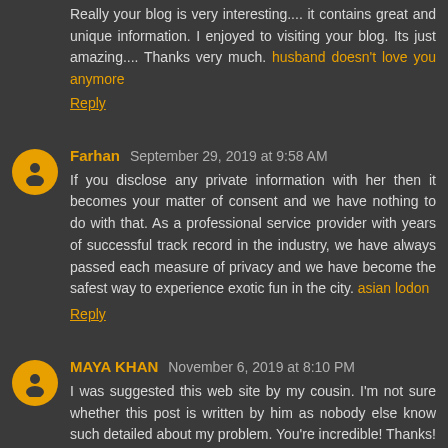Really your blog is very interesting.... it contains great and unique information. I enjoyed to visiting your blog. Its just amazing.... Thanks very much. husband doesn't love you anymore
Reply
Farhan September 29, 2019 at 9:58 AM
If you disclose any private information with her then it becomes your matter of consent and we have nothing to do with that. As a professional service provider with years of successful track record in the industry, we have always passed each measure of privacy and we have become the safest way to experience exotic fun in the city. asian lodon
Reply
MAYA KHAN November 6, 2019 at 8:10 PM
I was suggested this web site by my cousin. I'm not sure whether this post is written by him as nobody else know such detailed about my problem. You're incredible! Thanks!